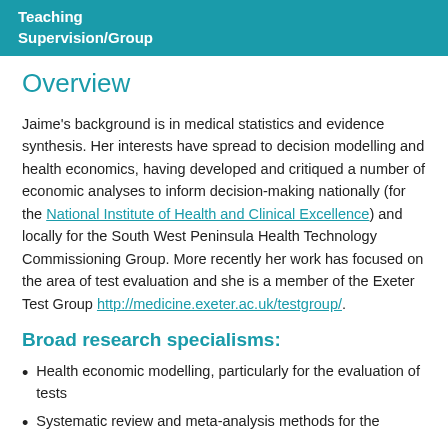Teaching
Supervision/Group
Overview
Jaime's background is in medical statistics and evidence synthesis. Her interests have spread to decision modelling and health economics, having developed and critiqued a number of economic analyses to inform decision-making nationally (for the National Institute of Health and Clinical Excellence) and locally for the South West Peninsula Health Technology Commissioning Group. More recently her work has focused on the area of test evaluation and she is a member of the Exeter Test Group http://medicine.exeter.ac.uk/testgroup/.
Broad research specialisms:
Health economic modelling, particularly for the evaluation of tests
Systematic review and meta-analysis methods for the